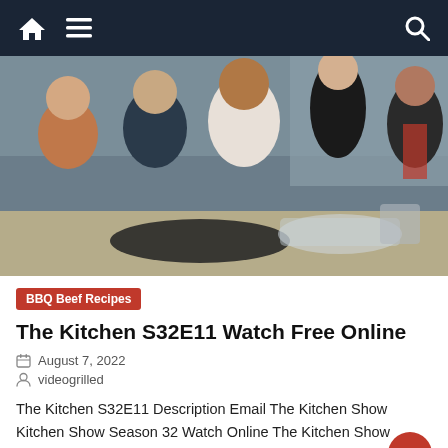Navigation bar with home, menu, and search icons
[Figure (photo): Group photo of five TV show hosts standing behind a kitchen counter with cookware and bowls in a kitchen set environment]
BBQ Beef Recipes
The Kitchen S32E11 Watch Free Online
August 7, 2022
videogrilled
The Kitchen S32E11 Description Email The Kitchen Show Kitchen Show Season 32 Watch Online The Kitchen Show Season 32 online the kitchen show season 32